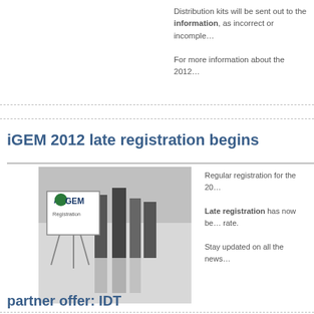Distribution kits will be sent out to the... information, as incorrect or incomple...
For more information about the 2012...
iGEM 2012 late registration begins
[Figure (photo): Black and white photo of people standing in a registration queue next to an iGEM Registration sign on an easel]
Regular registration for the 20...

Late registration has now be... rate.

Stay updated on all the news...
partner offer: IDT